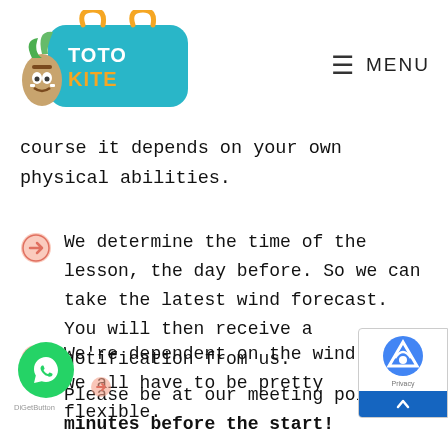TotoKite — MENU
course it depends on your own physical abilities.
We determine the time of the lesson, the day before. So we can take the latest wind forecast. You will then receive a notification from us.
We're dependent on the wind, so we all have to be pretty flexible.
Please be at our meeting point 15 minutes before the start!